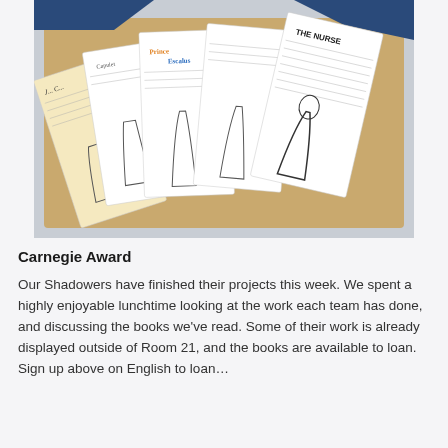[Figure (photo): A photograph of student project sheets fanned out on a wooden desk. The papers feature hand-drawn character outlines and handwritten notes about Romeo and Juliet characters including 'Prince Escalus', 'THE NURSE', and others, with illustrated figures in robes.]
Carnegie Award
Our Shadowers have finished their projects this week. We spent a highly enjoyable lunchtime looking at the work each team has done, and discussing the books we've read. Some of their work is already displayed outside of Room 21, and the books are available to loan. Sign up above on English to loan...